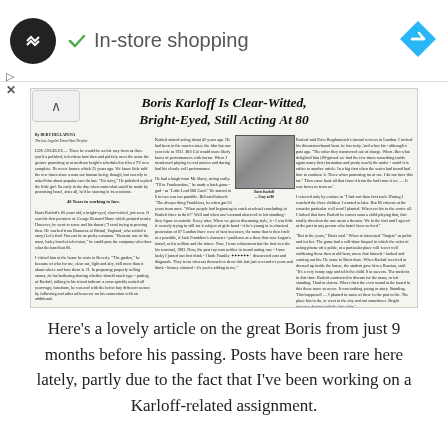[Figure (screenshot): Ad bar with circular logo, in-store shopping text with checkmark, and blue arrow icon]
[Figure (photo): Scanned newspaper clipping with headline 'Boris Karloff Is Clear-Witted, Bright-Eyed, Still Acting At 80', columns of text, photo of Boris Karloff, and small advertisement]
Here's a lovely article on the great Boris from just 9 months before his passing. Posts have been rare here lately, partly due to the fact that I've been working on a Karloff-related assignment.